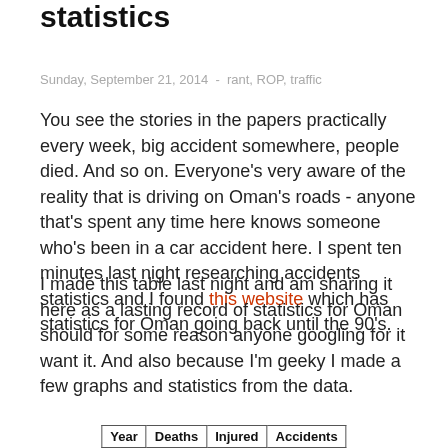statistics
Sunday, September 21, 2014  -  rant, ROP, traffic
You see the stories in the papers practically every week, big accident somewhere, people died. And so on. Everyone's very aware of the reality that is driving on Oman's roads - anyone that's spent any time here knows someone who's been in a car accident here. I spent ten minutes last night researching accidents statistics and I found this website which has statistics for Oman going back until the 90's.
I made this table last night and am sharing it here as a lasting record of statistics for Oman should for some reason anyone googling for it want it. And also because I'm geeky I made a few graphs and statistics from the data.
| Year | Deaths | Injured | Accidents |
| --- | --- | --- | --- |